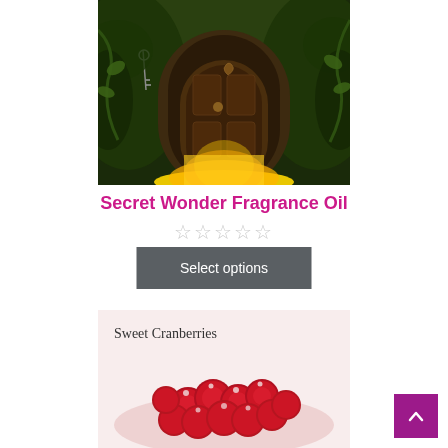[Figure (photo): A magical fantasy wooden door set into a tree or hillside, glowing golden light at its base, surrounded by lush green foliage and hanging vines. A key hangs on the left side.]
Secret Wonder Fragrance Oil
★★★★★ (empty star rating)
Select options
[Figure (photo): A close-up image of red cranberries with text overlay reading 'Sweet Cranberries'. The berries appear fresh and glossy on a light pink/white background.]